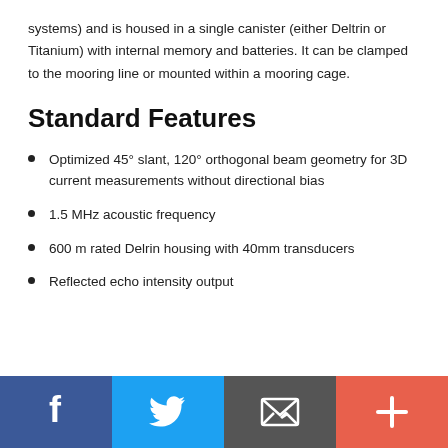systems) and is housed in a single canister (either Deltrin or Titanium) with internal memory and batteries. It can be clamped to the mooring line or mounted within a mooring cage.
Standard Features
Optimized 45° slant, 120° orthogonal beam geometry for 3D current measurements without directional bias
1.5 MHz acoustic frequency
600 m rated Delrin housing with 40mm transducers
Reflected echo intensity output
[Figure (infographic): Social sharing footer bar with four buttons: Facebook (dark blue), Twitter (light blue), Email (dark gray), and Plus/More (orange-red), each with a white icon.]